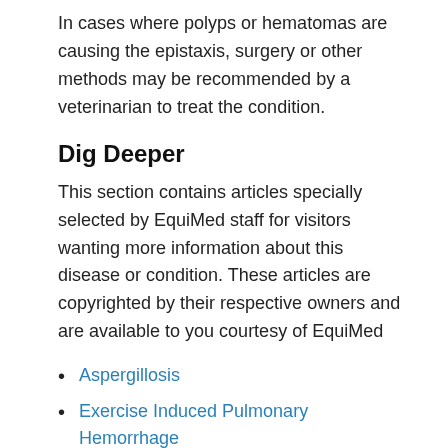In cases where polyps or hematomas are causing the epistaxis, surgery or other methods may be recommended by a veterinarian to treat the condition.
Dig Deeper
This section contains articles specially selected by EquiMed staff for visitors wanting more information about this disease or condition. These articles are copyrighted by their respective owners and are available to you courtesy of EquiMed
Aspergillosis
Exercise Induced Pulmonary Hemorrhage
About the Author
EquiMed Staff